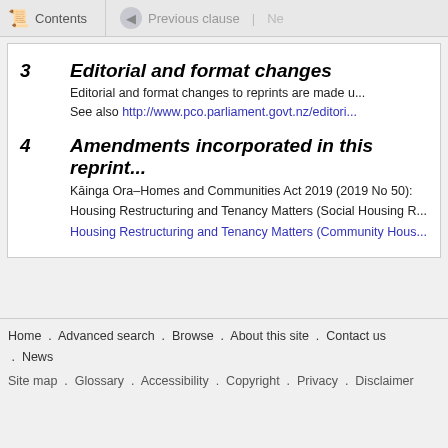Contents | Previous clause | Ne...
3   Editorial and format changes
Editorial and format changes to reprints are made u... See also http://www.pco.parliament.govt.nz/editori...
4   Amendments incorporated in this reprint...
Kāinga Ora–Homes and Communities Act 2019 (2019 No 50):
Housing Restructuring and Tenancy Matters (Social Housing R...
Housing Restructuring and Tenancy Matters (Community Hous...
Home . Advanced search . Browse . About this site . Contact us . News
Site map . Glossary . Accessibility . Copyright . Privacy . Disclaimer